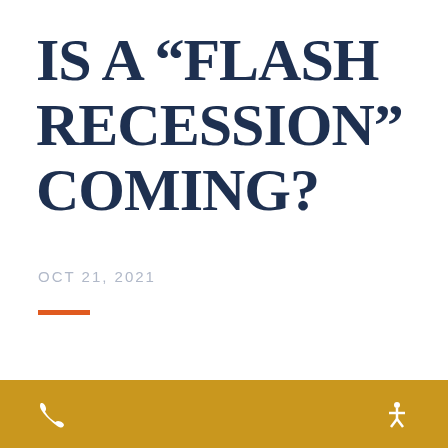IS A “FLASH RECESSION” COMING?
OCT 21, 2021
[Figure (screenshot): SoundCloud embedded audio player widget with orange 'Play on SoundCloud' button and a 'Listen in browser' button on a gray background]
Phone icon and accessibility icon on gold/amber background bar